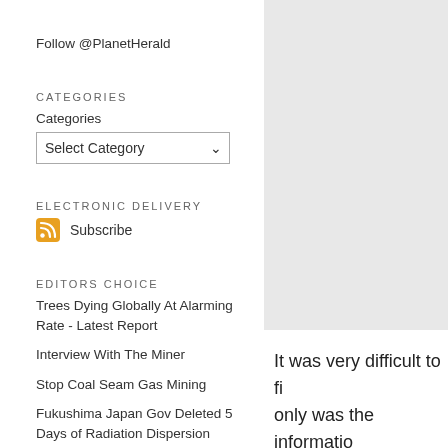Follow @PlanetHerald
Categories
Categories
Select Category
Electronic Delivery
Subscribe
Editors Choice
Trees Dying Globally At Alarming Rate - Latest Report
Interview With The Miner
Stop Coal Seam Gas Mining
Fukushima Japan Gov Deleted 5 Days of Radiation Dispersion
Write My Essay
It was very difficult to fi... only was the informatio... subject to be rather em...